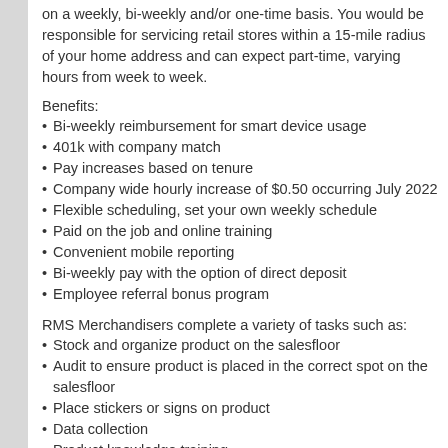on a weekly, bi-weekly and/or one-time basis. You would be responsible for servicing retail stores within a 15-mile radius of your home address and can expect part-time, varying hours from week to week.
Benefits:
Bi-weekly reimbursement for smart device usage
401k with company match
Pay increases based on tenure
Company wide hourly increase of $0.50 occurring July 2022
Flexible scheduling, set your own weekly schedule
Paid on the job and online training
Convenient mobile reporting
Bi-weekly pay with the option of direct deposit
Employee referral bonus program
RMS Merchandisers complete a variety of tasks such as:
Stock and organize product on the salesfloor
Audit to ensure product is placed in the correct spot on the salesfloor
Place stickers or signs on product
Data collection
Product knowledge training